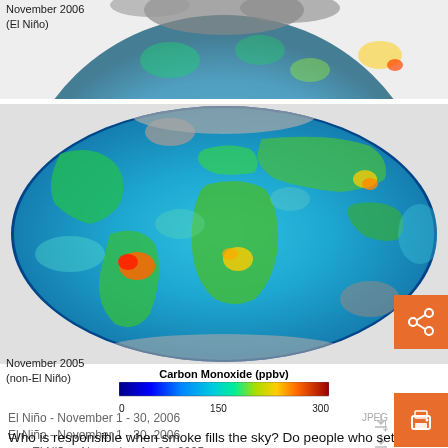[Figure (map): Partial view of global carbon monoxide map for November 2006 (El Niño), showing Mollweide projection globe with false-color CO concentrations from blue (low) to red (high).]
November 2006
(El Niño)
[Figure (map): Global carbon monoxide map for November 2005 (non-El Niño), showing Mollweide projection globe with false-color CO concentrations. Hotspots visible over South America and Africa.]
November 2005
(non-El Niño)
[Figure (other): Colorbar for Carbon Monoxide (ppbv), ranging from 0 (dark blue) through 150 (cyan/green/yellow) to 300 (dark red).]
Carbon Monoxide (ppbv)
0   150   300
El Niño - November 1 - 30, 2006
El Niño - November 1 - 30, 2006
non-El Niño - November 1 - 30, 2005
non-El Niño - November 1 - 30, 2005
Who is responsible when smoke fills the sky? Do people who set